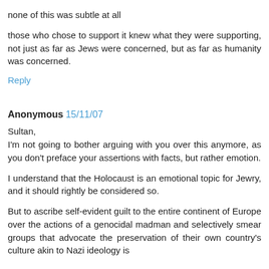none of this was subtle at all
those who chose to support it knew what they were supporting, not just as far as Jews were concerned, but as far as humanity was concerned.
Reply
Anonymous 15/11/07
Sultan,
I'm not going to bother arguing with you over this anymore, as you don't preface your assertions with facts, but rather emotion.
I understand that the Holocaust is an emotional topic for Jewry, and it should rightly be considered so.
But to ascribe self-evident guilt to the entire continent of Europe over the actions of a genocidal madman and selectively smear groups that advocate the preservation of their own country's culture akin to Nazi ideology is